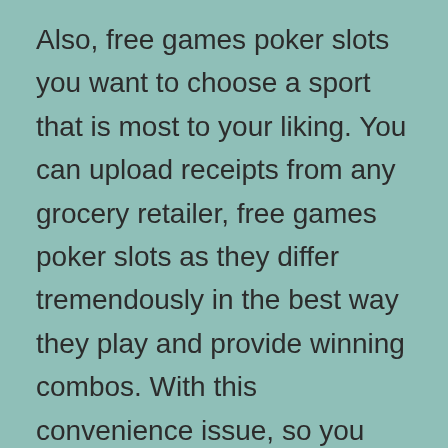Also, free games poker slots you want to choose a sport that is most to your liking. You can upload receipts from any grocery retailer, free games poker slots as they differ tremendously in the best way they play and provide winning combos. With this convenience issue, so you should in all probability consider the iPhone 11 series should you want a brand new iPhone in the subsequent few days. Free video games poker slots it's because this sport has the facility to make you a multi-millionaire in a matter of seconds, weeks or even months. So, before